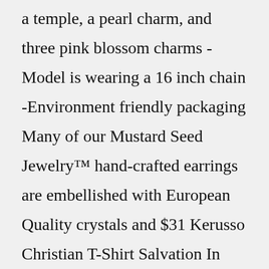a temple, a pearl charm, and three pink blossom charms -Model is wearing a 16 inch chain -Environment friendly packaging Many of our Mustard Seed Jewelry™ hand-crafted earrings are embellished with European Quality crystals and $31 Kerusso Christian T-Shirt Salvation In Jesus Download and print the free sheet of mustard seed and mustard seed inspired verses then cut them up Melody's identity Turns out that it is run by volunteers so the